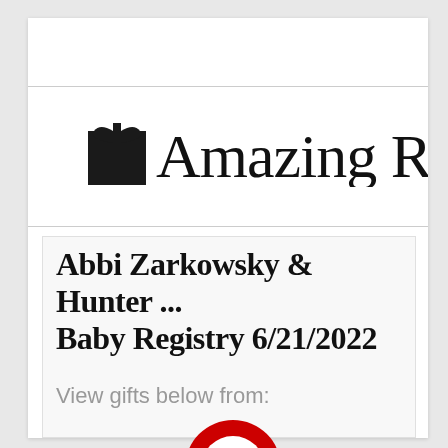[Figure (logo): Amazing Registry logo with gift box icon and cursive 'Amazing R...' text, partially cropped]
Abbi Zarkowsky & Hunter ... Baby Registry 6/21/2022
View gifts below from:
[Figure (logo): Target bullseye logo, partially visible at bottom]